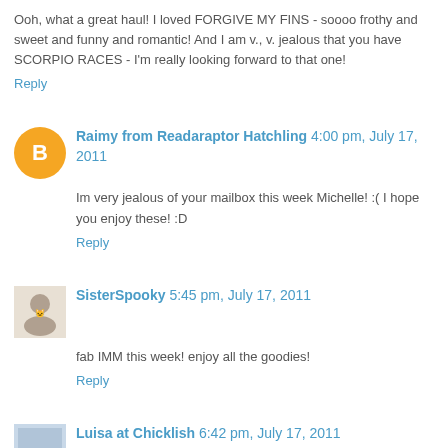Ooh, what a great haul! I loved FORGIVE MY FINS - soooo frothy and sweet and funny and romantic! And I am v., v. jealous that you have SCORPIO RACES - I'm really looking forward to that one!
Reply
Raimy from Readaraptor Hatchling 4:00 pm, July 17, 2011
Im very jealous of your mailbox this week Michelle! :( I hope you enjoy these! :D
Reply
SisterSpooky 5:45 pm, July 17, 2011
fab IMM this week! enjoy all the goodies!
Reply
Luisa at Chicklish 6:42 pm, July 17, 2011